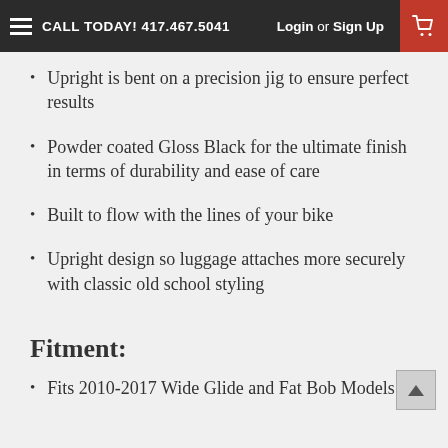CALL TODAY! 417.467.5041   Login or Sign Up
Upright is bent on a precision jig to ensure perfect results
Powder coated Gloss Black for the ultimate finish in terms of durability and ease of care
Built to flow with the lines of your bike
Upright design so luggage attaches more securely with classic old school styling
Fitment:
Fits 2010-2017 Wide Glide and Fat Bob Models